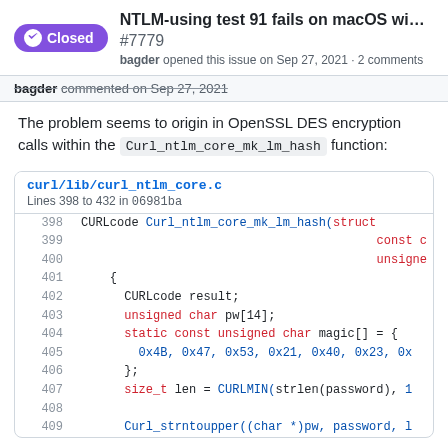NTLM-using test 91 fails on macOS wi... #7779
bagder opened this issue on Sep 27, 2021 · 2 comments
bagder commented on Sep 27, 2021
The problem seems to origin in OpenSSL DES encryption calls within the Curl_ntlm_core_mk_lm_hash function:
[Figure (screenshot): Code snippet from curl/lib/curl_ntlm_core.c, Lines 398 to 432 in 06981ba, showing C source code for CURLcode Curl_ntlm_core_mk_lm_hash function with syntax highlighting.]